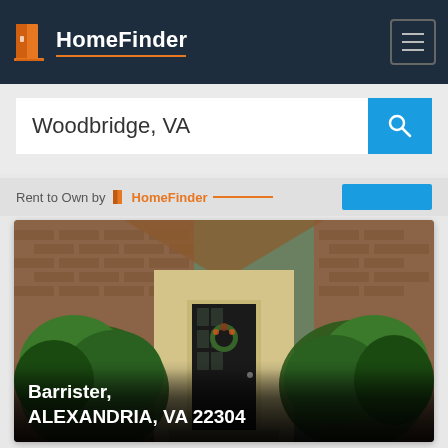HomeFinder
Woodbridge, VA
Rent to Own by HomeFinder
[Figure (photo): Exterior photo of a brick house with a black front door decorated with a wreath, flanked by green shrubs and trees]
Barrister, ALEXANDRIA, VA 22304